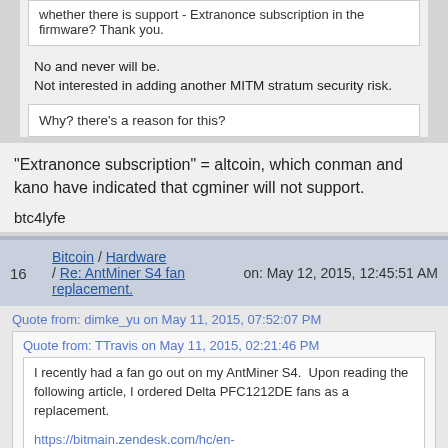whether there is support - Extranonce subscription in the firmware? Thank you.
No and never will be.
Not interested in adding another MITM stratum security risk.
Why? there's a reason for this?
"Extranonce subscription" = altcoin, which conman and kano have indicated that cgminer will not support.
btc4lyfe
16   Bitcoin / Hardware / Re: AntMiner S4 fan replacement.   on: May 12, 2015, 12:45:51 AM
Quote from: dimke_yu on May 11, 2015, 07:52:07 PM
Quote from: TTravis on May 11, 2015, 02:21:46 PM
I recently had a fan go out on my AntMiner S4.  Upon reading the following article, I ordered Delta PFC1212DE fans as a replacement.
https://bitmain.zendesk.com/hc/en-us/articles/204199879-Antminer-S4-fan-specification-and-possible-replacement-fans
I replaced the front and back fans, closest to the PSU...